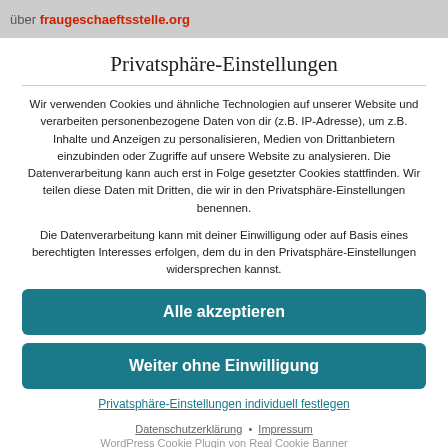über fraugeschaeftsstelle.org
Privatsphäre-Einstellungen
Wir verwenden Cookies und ähnliche Technologien auf unserer Website und verarbeiten personenbezogene Daten von dir (z.B. IP-Adresse), um z.B. Inhalte und Anzeigen zu personalisieren, Medien von Drittanbietern einzubinden oder Zugriffe auf unsere Website zu analysieren. Die Datenverarbeitung kann auch erst in Folge gesetzter Cookies stattfinden. Wir teilen diese Daten mit Dritten, die wir in den Privatsphäre-Einstellungen benennen.
Die Datenverarbeitung kann mit deiner Einwilligung oder auf Basis eines berechtigten Interesses erfolgen, dem du in den Privatsphäre-Einstellungen widersprechen kannst.
Alle akzeptieren
Weiter ohne Einwilligung
Privatsphäre-Einstellungen individuell festlegen
Datenschutzerklärung • Impressum WordPress Cookie Plugin von Real Cookie Banner